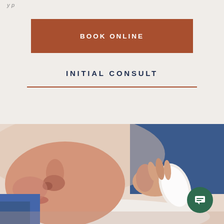y p
BOOK ONLINE
INITIAL CONSULT
[Figure (photo): Close-up photo of a patient lying down receiving a facial treatment. A practitioner in blue scrubs holds a white gua sha or similar tool against the patient's cheek/jaw area. A chat bubble icon appears in the bottom right corner.]